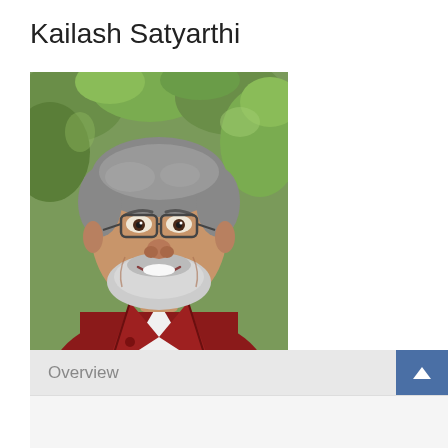Kailash Satyarthi
[Figure (photo): Portrait photo of Kailash Satyarthi, an older Indian man with gray hair, wearing glasses and a red jacket over a white shirt, smiling, with green foliage in the background.]
Overview